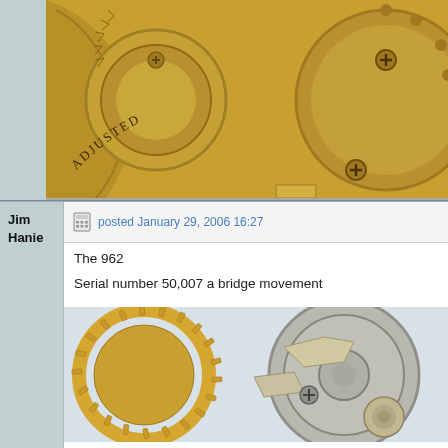[Figure (photo): Close-up macro photograph of a watch movement showing gold-colored gears and mechanical parts. Text 'ADJUSTED' and numbers '5161' visible on the movement parts.]
Jim Hanie
posted January 29, 2006 16:27
The 962
Serial number 50,007 a bridge movement
[Figure (photo): Close-up macro photograph of a watch movement showing gold and silver-colored gears with fine gear teeth visible.]